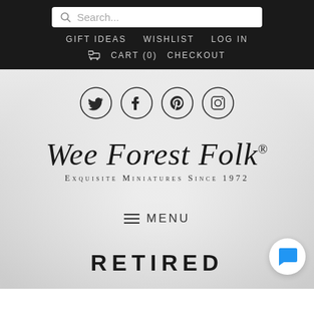Search... | GIFT IDEAS  WISHLIST  LOG IN | CART (0)  CHECKOUT
[Figure (illustration): Social media icons in circles: Twitter bird, Facebook f, Pinterest P, Instagram camera]
[Figure (logo): Wee Forest Folk® — Exquisite Miniatures Since 1972 logo with cursive script and decorative elements, overlaid on a greyscale photo background of miniature figurines]
≡ MENU
RETIRED